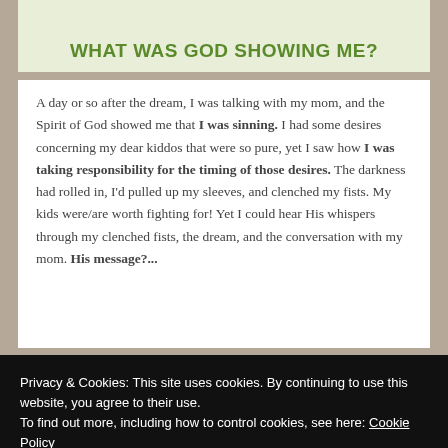WHAT WAS GOD SHOWING ME?
A day or so after the dream, I was talking with my mom, and the Spirit of God showed me that I was sinning. I had some desires concerning my dear kiddos that were so pure, yet I saw how I was taking responsibility for the timing of those desires. The darkness had rolled in, I'd pulled up my sleeves, and clenched my fists. My kids were/are worth fighting for! Yet I could hear His whispers through my clenched fists, the dream, and the conversation with my mom. His message?...
Privacy & Cookies: This site uses cookies. By continuing to use this website, you agree to their use.
To find out more, including how to control cookies, see here: Cookie Policy